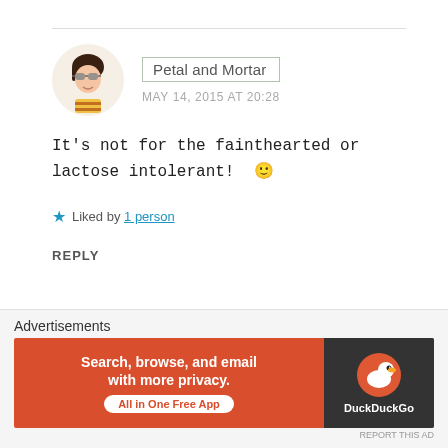Petal and Mortar
MAY 14, 2015 AT 20:28
It’s not for the fainthearted or lactose intolerant! 🙂
Liked by 1 person
REPLY
Advertisements
Search, browse, and email with more privacy. All in One Free App
DuckDuckGo